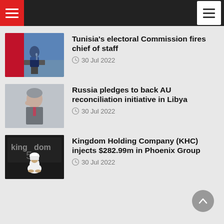Navigation bar with menu icons
Tunisia's electoral Commission fires chief of staff — 30 Jul 2022
Russia pledges to back AU reconciliation initiative in Libya — 30 Jul 2022
Kingdom Holding Company (KHC) injects $282.99m in Phoenix Group — 30 Jul 2022